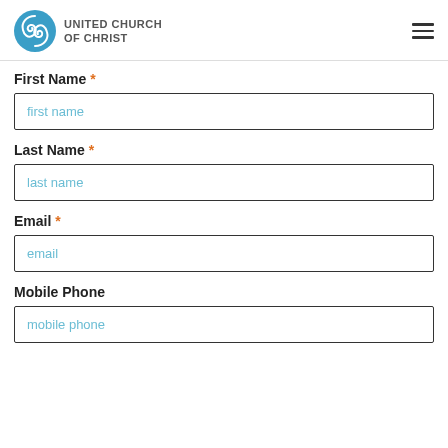UNITED CHURCH OF CHRIST
First Name *
first name
Last Name *
last name
Email *
email
Mobile Phone
mobile phone